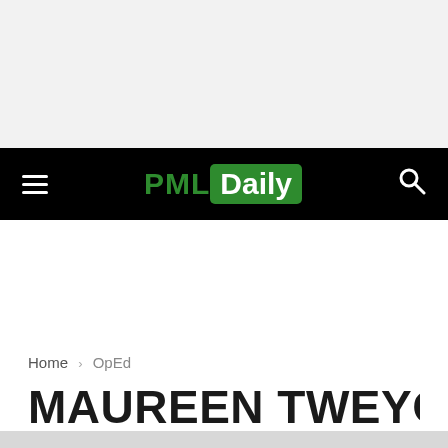PML Daily
Home › OpEd
MAUREEN TWEYONGERE: